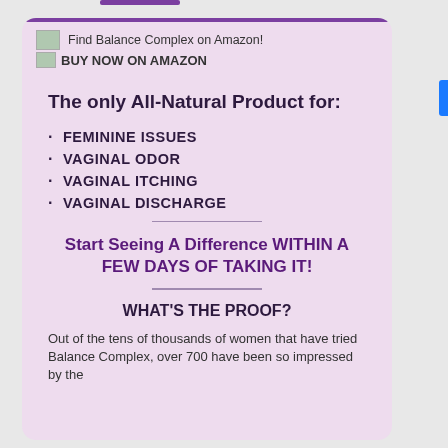Find Balance Complex on Amazon! BUY NOW ON AMAZON
The only All-Natural Product for:
FEMININE ISSUES
VAGINAL ODOR
VAGINAL ITCHING
VAGINAL DISCHARGE
Start Seeing A Difference WITHIN A FEW DAYS OF TAKING IT!
WHAT'S THE PROOF?
Out of the tens of thousands of women that have tried Balance Complex, over 700 have been so impressed by the results that they have shared their